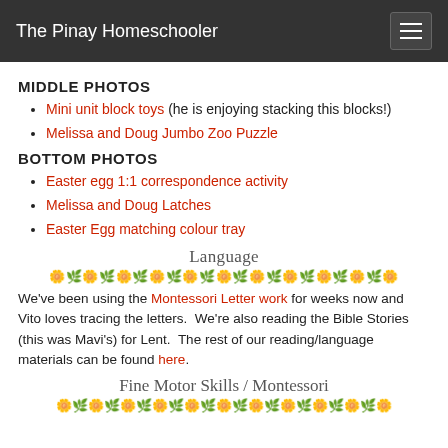The Pinay Homeschooler
MIDDLE PHOTOS
Mini unit block toys (he is enjoying stacking this blocks!)
Melissa and Doug Jumbo Zoo Puzzle
BOTTOM PHOTOS
Easter egg 1:1 correspondence activity
Melissa and Doug Latches
Easter Egg matching colour tray
Language
We've been using the Montessori Letter work for weeks now and Vito loves tracing the letters.  We're also reading the Bible Stories (this was Mavi's) for Lent.  The rest of our reading/language materials can be found here.
Fine Motor Skills / Montessori